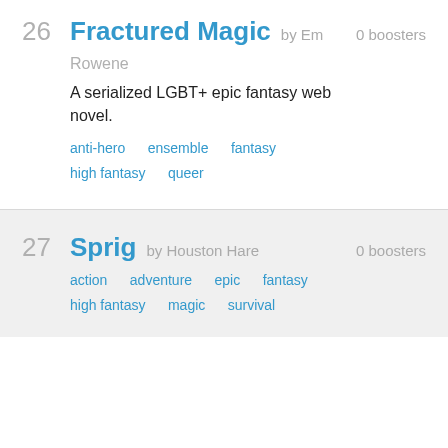26  Fractured Magic by Em  0 boosters
Rowene
A serialized LGBT+ epic fantasy web novel.
anti-hero   ensemble   fantasy   high fantasy   queer
27  Sprig by Houston Hare  0 boosters
action   adventure   epic   fantasy   high fantasy   magic   survival